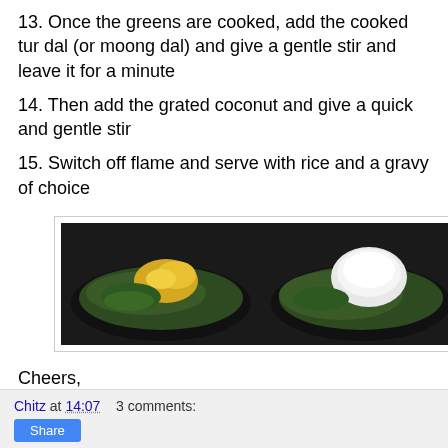13. Once the greens are cooked, add the cooked tur dal (or moong dal) and give a gentle stir and leave it for a minute
14. Then add the grated coconut and give a quick and gentle stir
15. Switch off flame and serve with rice and a gravy of choice
[Figure (photo): Three side-by-side photos of a dark pan showing cooking stages: cooked greens with dal, greens with grated coconut added, and final mixed dish]
Cheers,
Chitz
Chitz at 14:07    3 comments:    Share